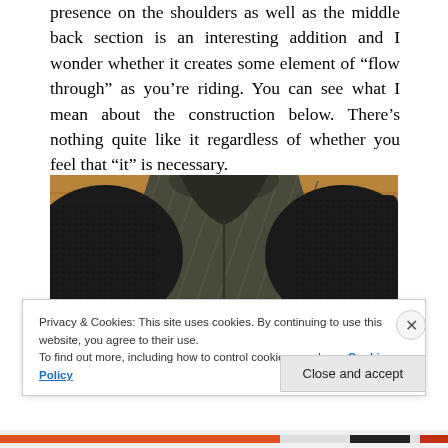presence on the shoulders as well as the middle back section is an interesting addition and I wonder whether it creates some element of "flow through" as you're riding. You can see what I mean about the construction below. There's nothing quite like it regardless of whether you feel that "it" is necessary.
[Figure (photo): Close-up photo of a cycling jersey back showing textured black mesh panels on shoulders and a striped grey/olive main fabric panel with yellow-green accent visible at bottom left]
Privacy & Cookies: This site uses cookies. By continuing to use this website, you agree to their use.
To find out more, including how to control cookies, see here: Cookie Policy